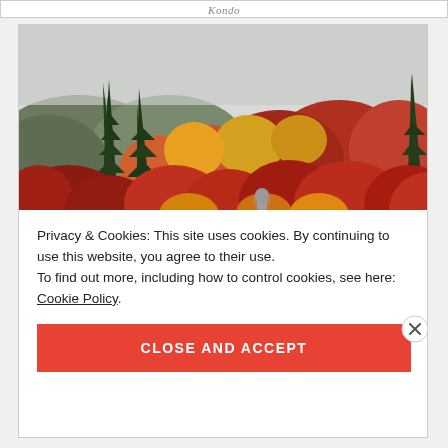Kondo
[Figure (photo): Autumn foliage scene with red, orange, and yellow maple trees, tall green conifers, misty mountains in background, and a stone lantern visible among the colorful trees.]
Privacy & Cookies: This site uses cookies. By continuing to use this website, you agree to their use.
To find out more, including how to control cookies, see here: Cookie Policy
CLOSE AND ACCEPT